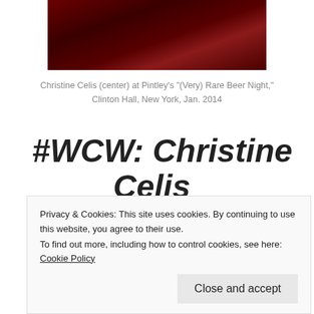[Figure (photo): Dark reddish photo of people at an event, partially visible at top of page]
Christine Celis (center) at Pintley's "(Very) Rare Beer Night," Clinton Hall, New York, Jan. 2014
#WCW: Christine Celis
Beer Cred:
Privacy & Cookies: This site uses cookies. By continuing to use this website, you agree to their use.
To find out more, including how to control cookies, see here: Cookie Policy
Co-founder and president, Celis Brewing